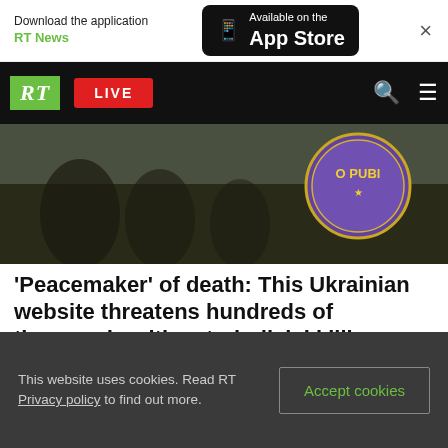[Figure (screenshot): App download banner with 'Download the application RT News' text and App Store button with phone icon]
RT LIVE
[Figure (photo): Military/combat scene with soldiers, overlaid with a purple circular badge with yellow text reading 'O PUBL']
'Peacemaker' of death: This Ukrainian website threatens hundreds of thousands with extrajudicial killings — some are Americans FEATURE
This website uses cookies. Read RT Privacy policy to find out more.
Accept cookies